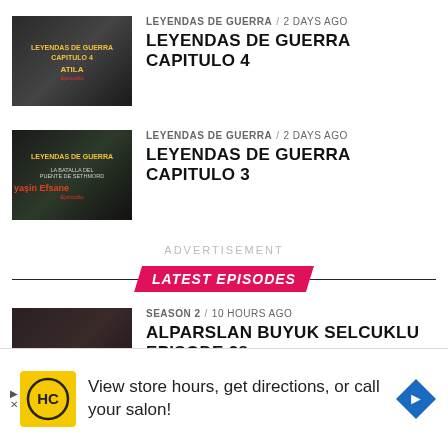LEYENDAS DE GUERRA / 2 days ago
LEYENDAS DE GUERRA CAPITULO 4
LEYENDAS DE GUERRA / 2 days ago
LEYENDAS DE GUERRA CAPITULO 3
ADVERTISEMENT
LATEST EPISODES
SEASON 2 / 10 hours ago
ALPARSLAN BUYUK SELCUKLU EPISODE 28
TRAILER
[Figure (screenshot): Bottom advertisement banner: HC logo on yellow background, text 'View store hours, get directions, or call your salon!', blue diamond navigation icon on right]